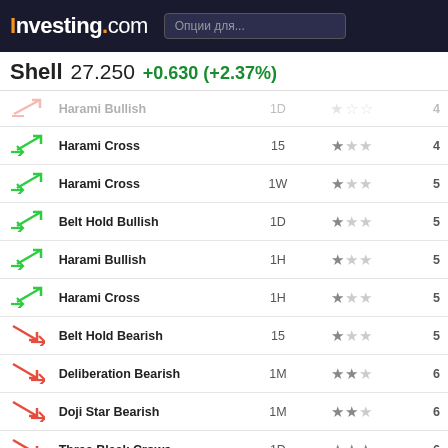Investing.com
Shell 27.250 +0.630 (+2.37%)
| Icon | Pattern | Timeframe | Reliability | Candles |
| --- | --- | --- | --- | --- |
| ↗ | Harami Bullish | 1D | ★☆☆ | 4 |
| ↗ | Harami Cross | 15 | ★☆☆ | 4 |
| ↗ | Harami Cross | 1W | ★☆☆ | 5 |
| ↗ | Belt Hold Bullish | 1D | ★☆☆ | 5 |
| ↗ | Harami Bullish | 1H | ★☆☆ | 5 |
| ↗ | Harami Cross | 1H | ★☆☆ | 5 |
| ↘ | Belt Hold Bearish | 15 | ★☆☆ | 5 |
| ↘ | Deliberation Bearish | 1M | ★★☆ | 6 |
| ↘ | Doji Star Bearish | 1M | ★★☆ | 6 |
| ↘ | Three Black Crows | 1D | ★★★ | 6 |
| ↘ | Belt Hold Bearish | 1H | ★☆☆ | 6 |
| ↘ | Engulfing Bearish | 1H | ★★☆ | 6 |
| ↘ | Doji Star Bearish | 1H | ★★☆ | 7 |
| ↗ | Three Outside Up | 1H | ★★★ | 7 |
| ↗ | Belt Hold | 1H | ★☆☆ | 7 |
| ↘ | Downside | 1H | ★★☆ | 7 |